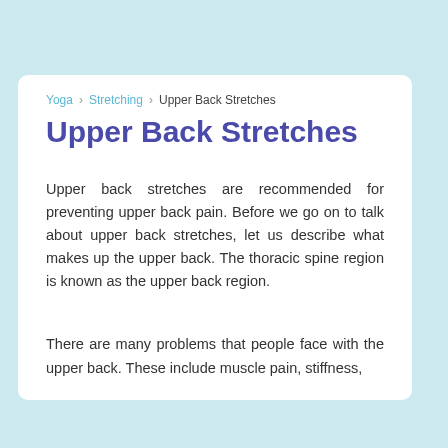Yoga › Stretching › Upper Back Stretches
Upper Back Stretches
Upper back stretches are recommended for preventing upper back pain. Before we go on to talk about upper back stretches, let us describe what makes up the upper back. The thoracic spine region is known as the upper back region.
There are many problems that people face with the upper back. These include muscle pain, stiffness,